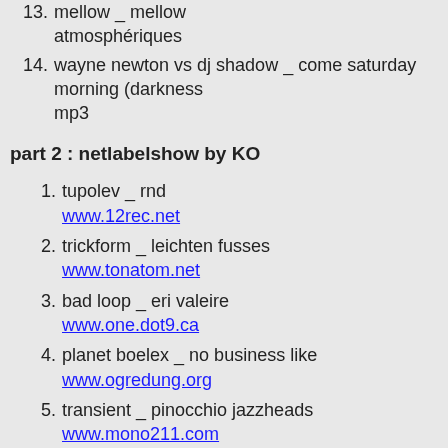13. mellow _ mellow atmosphériques
14. wayne newton vs dj shadow _ come saturday morning (darkness mp3
part 2 : netlabelshow by KO
1. tupolev _ rnd
www.12rec.net
2. trickform _ leichten fusses
www.tonatom.net
3. bad loop _ eri valeire
www.one.dot9.ca
4. planet boelex _ no business like
www.ogredung.org
5. transient _ pinocchio jazzheads
www.mono211.com
6. jörg müller _ es gäbe mehr zu sagen
www.comatronic.net
7. daniel stefanik _ experience # 2